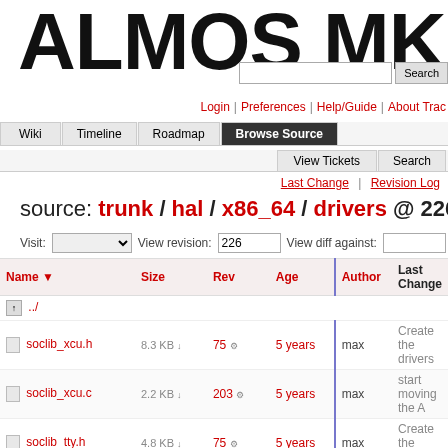[Figure (logo): ALMOS MKE logo in bold black text]
Login | Preferences | Help/Guide | About Trac
Wiki | Timeline | Roadmap | Browse Source | View Tickets | Search
Last Change | Revision Log
source: trunk / hal / x86_64 / drivers @ 226
Visit: [dropdown] View revision: 226 View diff against: [input]
| Name | Size | Rev | Age | Author | Last Change |
| --- | --- | --- | --- | --- | --- |
| ../ |  |  |  |  |  |
| soclib_xcu.h | 8.3 KB | 75 | 5 years | max | Create the drivers |
| soclib_xcu.c | 2.2 KB | 203 | 5 years | max | start moving the A |
| soclib_tty.h | 4.8 KB | 75 | 5 years | max | Create the drivers |
| soclib_tty.c | 3.1 KB | 100 | 5 years | max | add a part of the t |
| soclib_nic.h | 11.4 KB | 75 | 5 years | max | Create the drivers |
| soclib_nic.c | 1.3 KB | 76 | 5 years | max | empty out the x86 |
| soclib_mmc.h | 6.5 KB | 75 | 5 years | max | Create the drivers |
| soclib_mmc.c | 1.2 KB | 76 | 5 years | max | empty out the x86 |
| soclib_job.h | 6.3 KB | 75 | 5 years | max | Create the drivers |